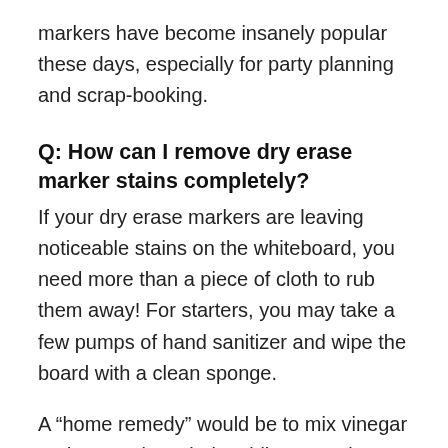markers have become insanely popular these days, especially for party planning and scrapbooking.
Q: How can I remove dry erase marker stains completely?
If your dry erase markers are leaving noticeable stains on the whiteboard, you need more than a piece of cloth to rub them away! For starters, you may take a few pumps of hand sanitizer and wipe the board with a clean sponge.
A “home remedy” would be to mix vinegar and water since their acidic properties remove